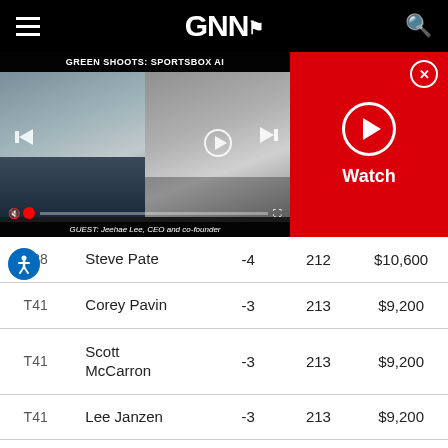GNN (Golf News Network) header with hamburger menu and search icon
[Figure (screenshot): Video player showing two people in a split view with title 'GREEN SHOOTS: SPORTSBOX AI' and guest bar 'GUEST: Jeehae Lee, CEO and co-founder'. Right side is a red panel with a Watch button and close X button.]
| Pos | Player | Score | Total | Prize |
| --- | --- | --- | --- | --- |
| T38 | Steve Pate | -4 | 212 | $10,600 |
| T41 | Corey Pavin | -3 | 213 | $9,200 |
| T41 | Scott McCarron | -3 | 213 | $9,200 |
| T41 | Lee Janzen | -3 | 213 | $9,200 |